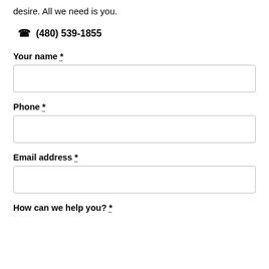desire. All we need is you.
☎ (480) 539-1855
Your name *
Phone *
Email address *
How can we help you? *